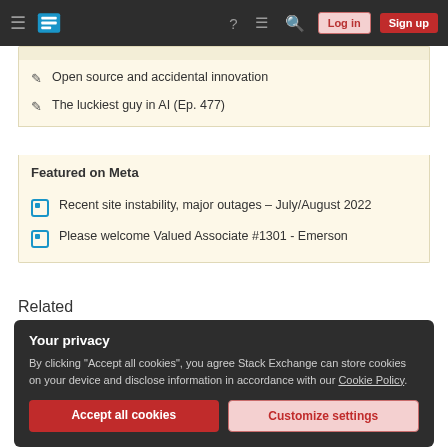Stack Exchange navigation bar with Log in and Sign up buttons
Open source and accidental innovation
The luckiest guy in AI (Ep. 477)
Featured on Meta
Recent site instability, major outages – July/August 2022
Please welcome Valued Associate #1301 - Emerson
Related
Your privacy
By clicking "Accept all cookies", you agree Stack Exchange can store cookies on your device and disclose information in accordance with our Cookie Policy.
Accept all cookies | Customize settings